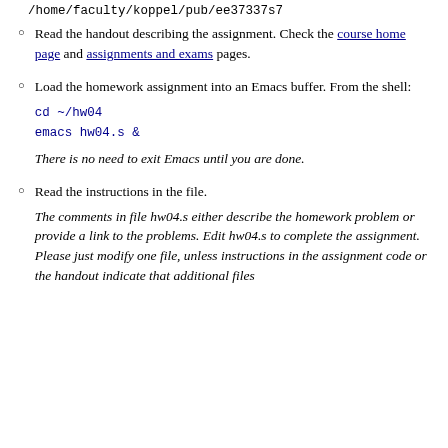/home/faculty/koppel/pub/ee37337s7
Read the handout describing the assignment. Check the course home page and assignments and exams pages.
Load the homework assignment into an Emacs buffer. From the shell:
cd ~/hw04
emacs hw04.s &
There is no need to exit Emacs until you are done.
Read the instructions in the file.
The comments in file hw04.s either describe the homework problem or provide a link to the problems. Edit hw04.s to complete the assignment. Please just modify one file, unless instructions in the assignment code or the handout indicate that additional files